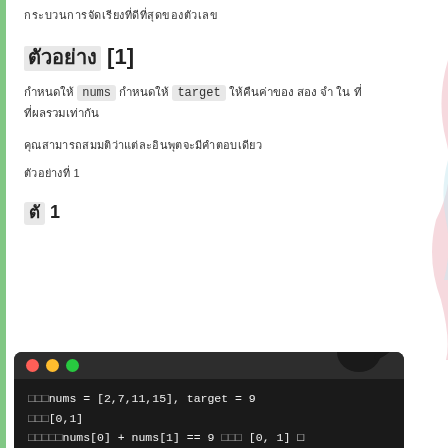กระบวนการจัดเรียงที่ดีที่สุด
ตัวอย่าง [1]
กำหนดให้ nums กำหนดให้ target ให้คืนค่าของ สอง จำ ใน ที่ผลรวมเท่ากัน
คุณสามารถสมมติว่าแต่ละอินพุตจะมีคำตอบเดียว
ตัวอย่างที่ 1
ตัว 1
[Figure (screenshot): Code window showing example: nums = [2,7,11,15], target = 9, output [0,1], because nums[0] + nums[1] == 9 ให้ [0, 1] ร]